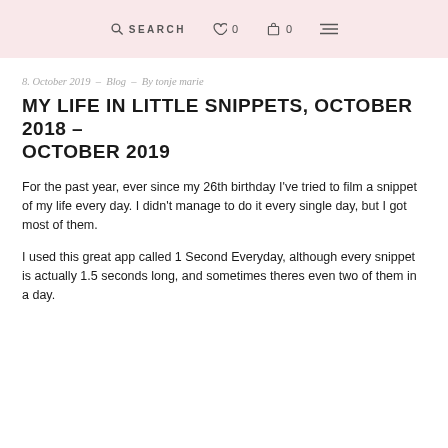SEARCH   0   0
8. October 2019 – Blog – By tonje marie
MY LIFE IN LITTLE SNIPPETS, OCTOBER 2018 – OCTOBER 2019
For the past year, ever since my 26th birthday I've tried to film a snippet of my life every day. I didn't manage to do it every single day, but I got most of them.
I used this great app called 1 Second Everyday, although every snippet is actually 1.5 seconds long, and sometimes theres even two of them in a day.